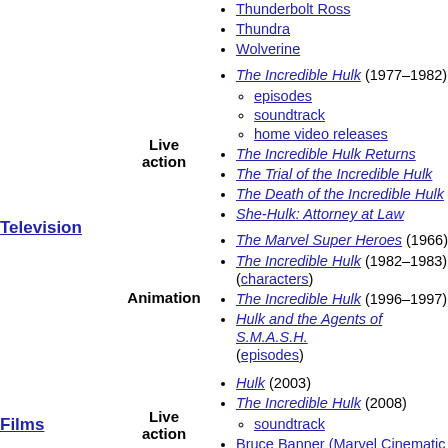Thunderbolt Ross
Thundra
Wolverine
Television
Live action
The Incredible Hulk (1977–1982) — episodes, soundtrack, home video releases
The Incredible Hulk Returns
The Trial of the Incredible Hulk
The Death of the Incredible Hulk
She-Hulk: Attorney at Law
Animation
The Marvel Super Heroes (1966)
The Incredible Hulk (1982–1983) (characters)
The Incredible Hulk (1996–1997)
Hulk and the Agents of S.M.A.S.H. (episodes)
Films
Live action
Hulk (2003)
The Incredible Hulk (2008) — soundtrack
Bruce Banner (Marvel Cinematic Universe)